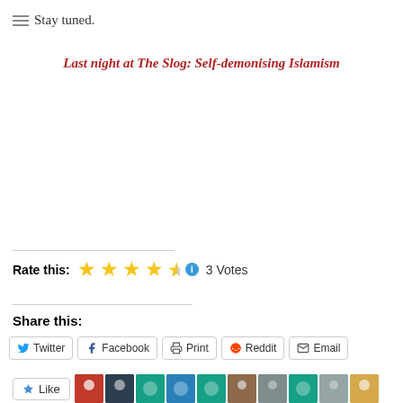Stay tuned.
Last night at The Slog: Self-demonising Islamism
Rate this: ★★★★½ 3 Votes
Share this:
Twitter Facebook Print Reddit Email
Like
10 bloggers like this.